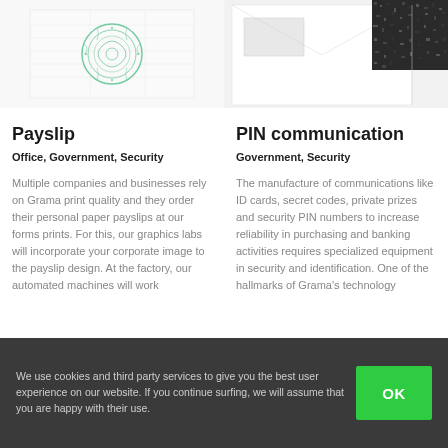[Figure (photo): Payslip document with green security watermark/seal visible through paper]
[Figure (photo): PIN communication mailer showing envelope with black security panel]
Payslip
Office, Government, Security
Multiple companies and businesses rely on Grama print quality and they order their personal paper payslips at our forms prints. For this, our graphics labs will incorporate your corporate image to the payslip design. At the factory, our automated machines will work
PIN communication
Government, Security
The manufacture of communications like ID cards, secret codes, private prizes and security PIN numbers to increase reliability in purchasing and banking activities requires specialized equipment in security and identification. One of the hallmarks of Grama's technology
We use cookies and third party services to give you the best user experience on our website. If you continue surfing, we will assume that you are happy with their use.